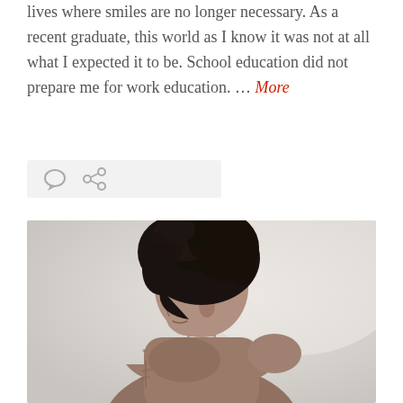lives where smiles are no longer necessary. As a recent graduate, this world as I know it was not at all what I expected it to be. School education did not prepare me for work education. … More
[Figure (photo): Black and white portrait photo of a woman with curly natural hair in profile view, arms crossed, with a tattoo visible on her back/shoulder.]